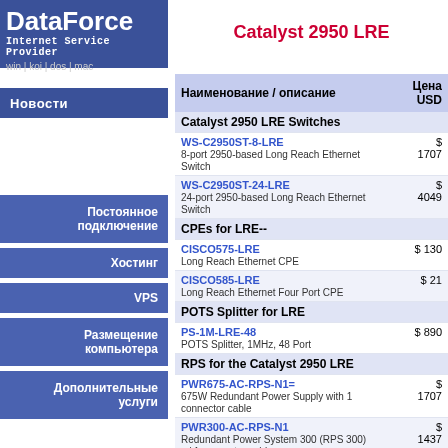[Figure (logo): DataForce Internet Service Provider logo with navigation links: win | koi | dos | mac]
Catalyst 2950 LRE
Новости
Постоянное подключение
Хостинг
VPS
Размещение компьютера
Дополнительные услуги
| Наименование / описание | Цена USD |
| --- | --- |
| Catalyst 2950 LRE Switches |  |
| WS-C2950ST-8-LRE
8-port 2950-based Long Reach Ethernet Switch | $ 1707 |
| WS-C2950ST-24-LRE
24-port 2950-based Long Reach Ethernet Switch | $ 4049 |
| CPEs for LRE-- |  |
| CISCO575-LRE
Long Reach Ethernet CPE | $ 130 |
| CISCO585-LRE
Long Reach Ethernet Four Port CPE | $ 21 |
| POTS Splitter for LRE |  |
| PS-1M-LRE-48
POTS Splitter, 1MHz, 48 Port | $ 890 |
| RPS for the Catalyst 2950 LRE |  |
| PWR675-AC-RPS-N1=
675W Redundant Power Supply with 1 connector cable | $ 1707 |
| PWR300-AC-RPS-N1
Redundant Power System 300 (RPS 300) w/ 1 connector cable | $ 1437 |
| CAB-RPS-1614=
1 RPS 675 connector cable 16/14 | $ 67 |
| CAB-RPS-1414=
1 RPS 300 CONNECTOR CABLE 14/14 | $ 72 |